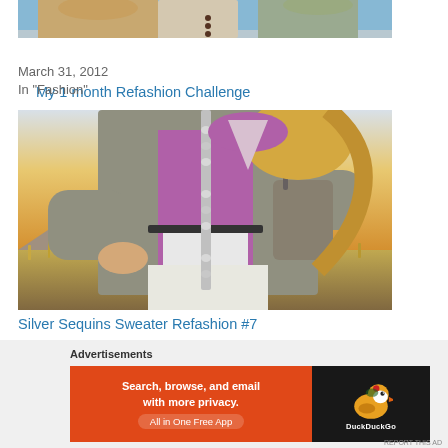[Figure (photo): Partial top of a photo showing people outdoors against a blue sky]
My 1 month Refashion Challenge
March 31, 2012
In "Fashion"
[Figure (photo): Woman wearing a grey open cardigan over a purple tank top and white pants, standing outdoors at sunset with mountains in the background. Cardigan has silver sequin trim.]
Silver Sequins Sweater Refashion #7
March 7, 2012
Advertisements
[Figure (other): DuckDuckGo advertisement banner: orange left panel with text 'Search, browse, and email with more privacy. All in One Free App', black right panel with DuckDuckGo duck logo and brand name]